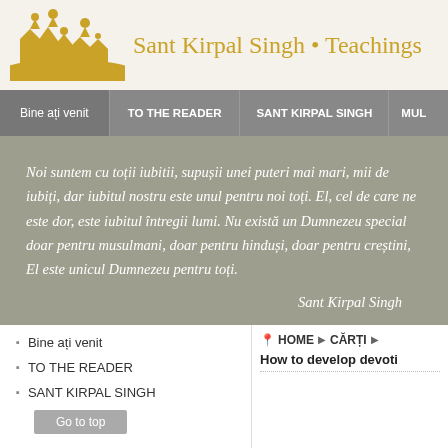[Figure (logo): Golden silhouette of temple/mosque domes against light background]
Sant Kirpal Singh • Teachings
Bine ați venit | TO THE READER | SANT KIRPAL SINGH | MUL...
Noi suntem cu toții iubitii, supușii unei puteri mai mari, mii de iubiți, dar iubitul nostru este unul pentru noi toți. El, cel de care ne este dor, este iubitul întregii lumi. Nu există un Dumnezeu special doar pentru musulmani, doar pentru hinduși, doar pentru creștini, El este unicul Dumnezeu pentru toți.
Sant Kirpal Singh
Bine ați venit
TO THE READER
SANT KIRPAL SINGH
HOME ▶ CĂRȚI ▶
How to develop devoti...